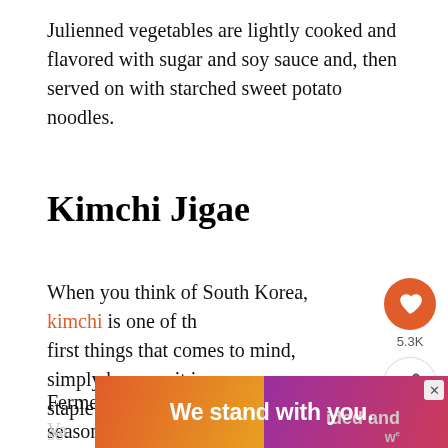Julienned vegetables are lightly cooked and flavored with sugar and soy sauce and, then served on with starched sweet potato noodles.
Kimchi Jigae
When you think of South Korea, kimchi is one of the first things that comes to mind, simply because it is a staple in so many different dishes.
Fermented and seasoned cabbage is pickled the same way that sauerkraut is.
[Figure (screenshot): Social sidebar with heart/like button showing 5.3K count and a share button]
[Figure (screenshot): WHAT'S NEXT promo card: Cuban Food: 30 Dishes Y...]
[Figure (screenshot): Advertisement banner: We stand with you. with orange/purple gradient background]